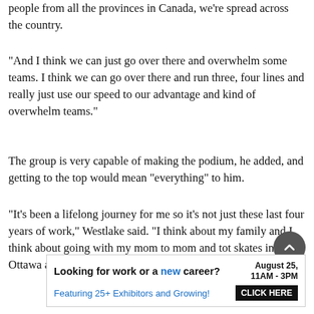people from all the provinces in Canada, we're spread across the country.
“And I think we can just go over there and overwhelm some teams. I think we can go over there and run three, four lines and really just use our speed to our advantage and kind of overwhelm teams.”
The group is very capable of making the podium, he added, and getting to the top would mean “everything” to him.
“It’s been a lifelong journey for me so it’s not just these last four years of work,” Westlake said. “I think about my family and I think about going with my mom to mom and tot skates in Ottawa as a kid and learning to skate with her on two
[Figure (other): Advertisement banner: 'Looking for work or a new career? August 25, 11AM-3PM. Featuring 25+ Exhibitors and Growing! CLICK HERE']